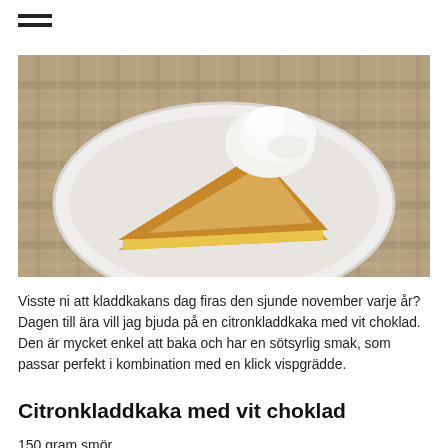[Figure (photo): A slice of lemon kladdkaka (Swedish sticky cake) with white chocolate on a white plate, topped with whipped cream, placed on a woven rattan mat]
Visste ni att kladdkakans dag firas den sjunde november varje år? Dagen till ära vill jag bjuda på en citronkladdkaka med vit choklad. Den är mycket enkel att baka och har en sötsyrlig smak, som passar perfekt i kombination med en klick vispgrädde.
Citronkladdkaka med vit choklad
150 gram smör